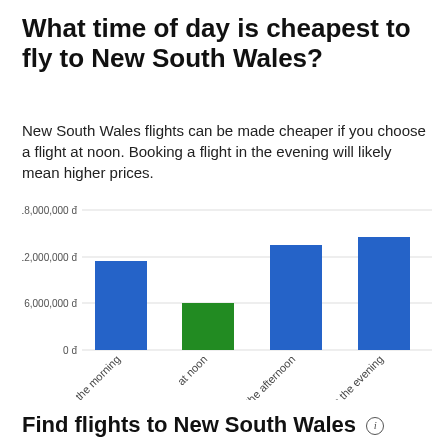What time of day is cheapest to fly to New South Wales?
New South Wales flights can be made cheaper if you choose a flight at noon. Booking a flight in the evening will likely mean higher prices.
[Figure (bar-chart): What time of day is cheapest to fly to New South Wales?]
Find flights to New South Wales